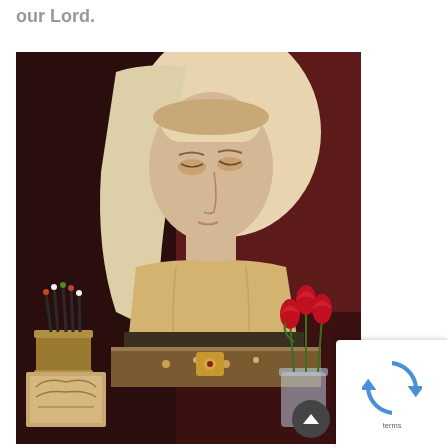our Lord.
[Figure (photo): A painted or sculpted bust of a serene-faced woman wearing a white veil, reminiscent of a medieval religious figure. On the surface in front of the bust are an ornate book, a decorative cup holder with pencils or quills, a golden medallion or clasp, and red tulips in a glass vase. The background is dark reddish-brown wood.]